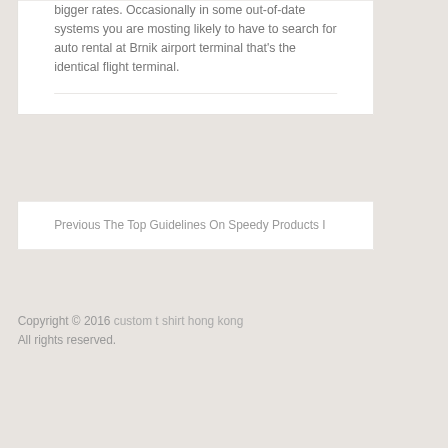bigger rates. Occasionally in some out-of-date systems you are mosting likely to have to search for auto rental at Brnik airport terminal that's the identical flight terminal.
Previous The Top Guidelines On Speedy Products I
Copyright © 2016 custom t shirt hong kong All rights reserved.